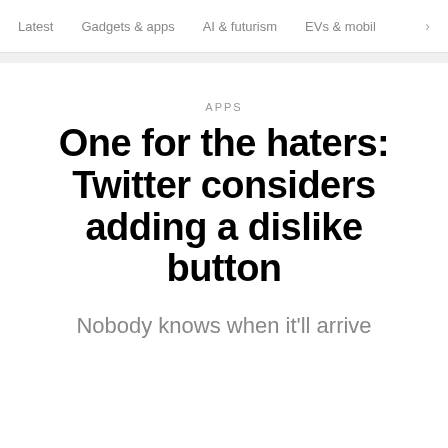Latest  Gadgets & apps  AI & futurism  EVs & mobil  >
APPS
One for the haters: Twitter considers adding a dislike button
Nobody knows when it'll arrive